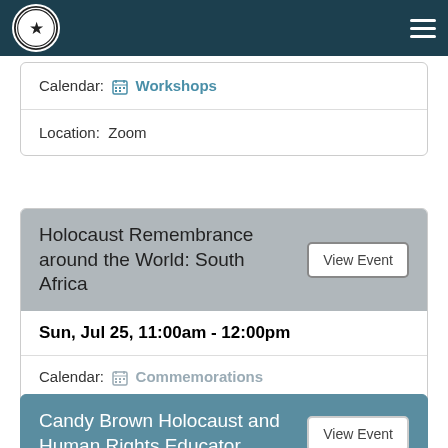Navigation bar with Texas Holocaust and Genocide Commission logo
Calendar: Workshops
Location: Zoom
Holocaust Remembrance around the World: South Africa
Sun, Jul 25, 11:00am - 12:00pm
Calendar: Commemorations
Location: Zoom & Facebook Live
Candy Brown Holocaust and Human Rights Educator